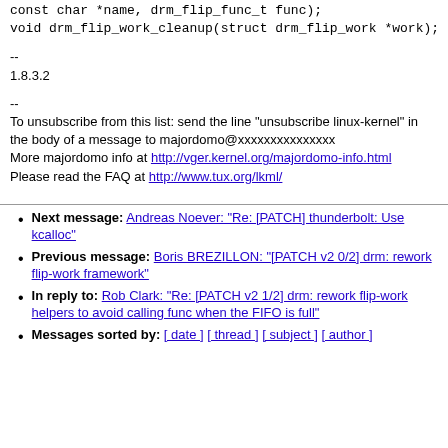const char *name, drm_flip_func_t func);
void drm_flip_work_cleanup(struct drm_flip_work *work);
--
1.8.3.2
--
To unsubscribe from this list: send the line "unsubscribe linux-kernel" in
the body of a message to majordomo@xxxxxxxxxxxxxxx
More majordomo info at http://vger.kernel.org/majordomo-info.html
Please read the FAQ at http://www.tux.org/lkml/
Next message: Andreas Noever: "Re: [PATCH] thunderbolt: Use kcalloc"
Previous message: Boris BREZILLON: "[PATCH v2 0/2] drm: rework flip-work framework"
In reply to: Rob Clark: "Re: [PATCH v2 1/2] drm: rework flip-work helpers to avoid calling func when the FIFO is full"
Messages sorted by: [ date ] [ thread ] [ subject ] [ author ]